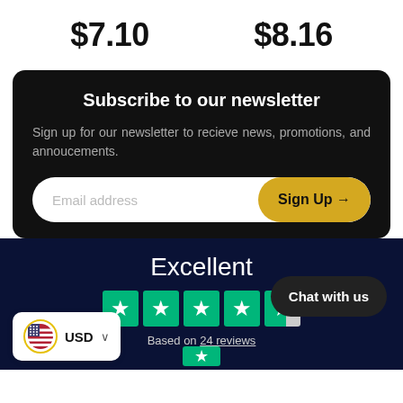$7.10
$8.16
Subscribe to our newsletter
Sign up for our newsletter to recieve news, promotions, and annoucements.
Email address
Sign Up →
Excellent
[Figure (other): Trustpilot 4.5 star rating with 5 green star boxes]
Based on 24 reviews
Chat with us
USD
[Figure (other): US flag currency selector widget with USD label]